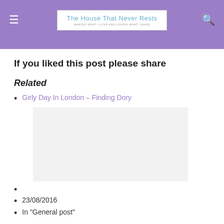The House That Never Rests — Making what I love and loving what I make
If you liked this post please share
Related
Girly Day In London – Finding Dory
[Figure (photo): Placeholder image for related post thumbnail]
23/08/2016
In "General post"